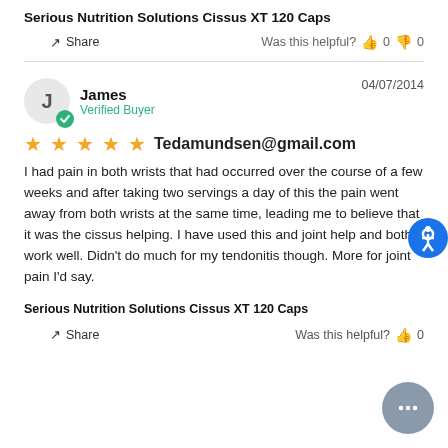Serious Nutrition Solutions Cissus XT 120 Caps
Share   Was this helpful? 0  0
James  04/07/2014  Verified Buyer
Tedamundsen@gmail.com
I had pain in both wrists that had occurred over the course of a few weeks and after taking two servings a day of this the pain went away from both wrists at the same time, leading me to believe that it was the cissus helping. I have used this and joint help and both work well. Didn't do much for my tendonitis though. More for joint pain I'd say.
Serious Nutrition Solutions Cissus XT 120 Caps
Share   Was this helpful? 0